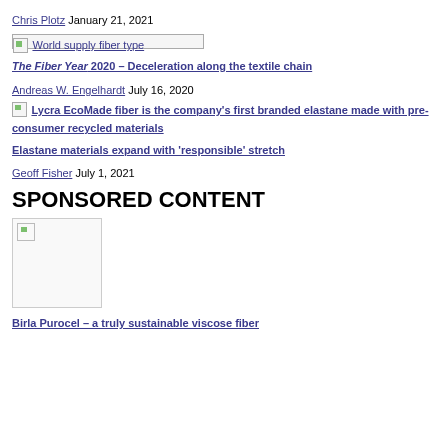Chris Plotz January 21, 2021
[Figure (other): World supply fiber type image placeholder with broken image icon]
The Fiber Year 2020 – Deceleration along the textile chain
Andreas W. Engelhardt July 16, 2020
[Figure (other): Lycra EcoMade fiber image placeholder with broken image icon]
Elastane materials expand with 'responsible' stretch
Geoff Fisher July 1, 2021
SPONSORED CONTENT
[Figure (other): Sponsored content image placeholder, square image with broken image icon]
Birla Purocel – a truly sustainable viscose fiber